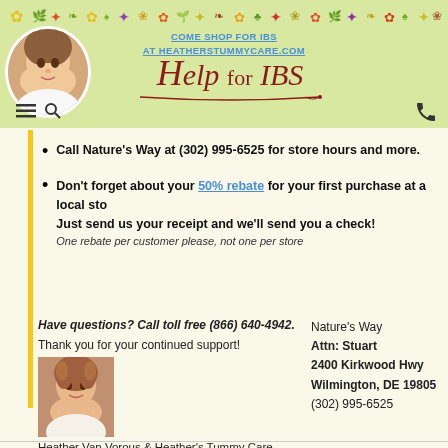COME SHOP FOR IBS AT HEATHERSTUMMYCARE.COM
[Figure (photo): Circular profile photo of a woman with curly brown hair in the header]
Help for IBS
Call Nature's Way at (302) 995-6525 for store hours and more.
Don't forget about your 50% rebate for your first purchase at a local store. Just send us your receipt and we'll send you a check! One rebate per customer please, not one per store
Have questions? Call toll free (866) 640-4942.
Thank you for your continued support!
[Figure (photo): Small portrait photo of Heather Van Vorous]
Heather Van Vorous & Heather's Tummy Care
Celebrating Over 10 Years of IBS Business!
Nature's Way
Attn: Stuart
2400 Kirkwood Hwy
Wilmington, DE 19805
(302) 995-6525